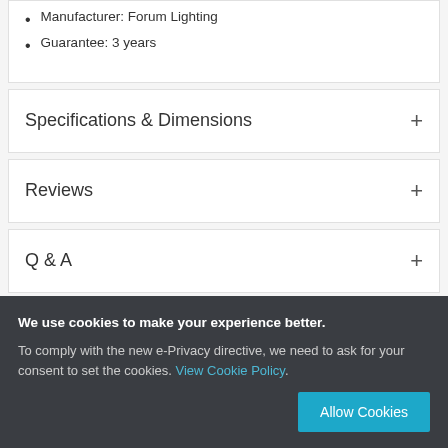Manufacturer: Forum Lighting
Guarantee: 3 years
Specifications & Dimensions
Reviews
Q & A
Downloads
We use cookies to make your experience better. To comply with the new e-Privacy directive, we need to ask for your consent to set the cookies. View Cookie Policy. Allow Cookies